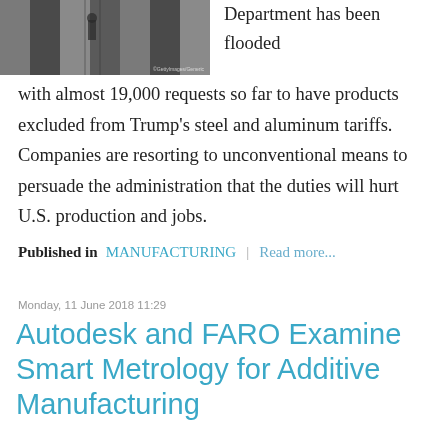[Figure (photo): Industrial manufacturing facility interior with large cylindrical metal rolls/drums and a worker visible in the background aisle]
Department has been flooded with almost 19,000 requests so far to have products excluded from Trump's steel and aluminum tariffs. Companies are resorting to unconventional means to persuade the administration that the duties will hurt U.S. production and jobs.
Published in  MANUFACTURING  |  Read more...
Monday, 11 June 2018 11:29
Autodesk and FARO Examine Smart Metrology for Additive Manufacturing